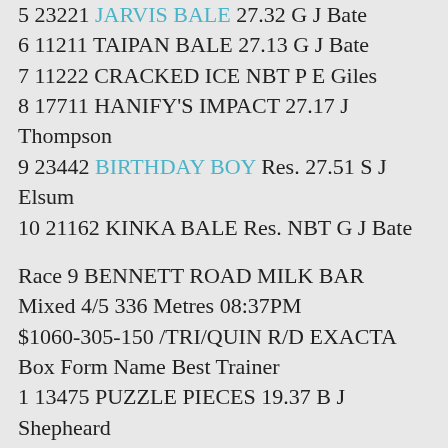5 23221 JARVIS BALE 27.32 G J Bate
6 11211 TAIPAN BALE 27.13 G J Bate
7 11222 CRACKED ICE NBT P E Giles
8 17711 HANIFY'S IMPACT 27.17 J Thompson
9 23442 BIRTHDAY BOY Res. 27.51 S J Elsum
10 21162 KINKA BALE Res. NBT G J Bate
Race 9 BENNETT ROAD MILK BAR
Mixed 4/5 336 Metres 08:37PM
$1060-305-150 /TRI/QUIN R/D EXACTA
Box Form Name Best Trainer
1 13475 PUZZLE PIECES 19.37 B J Shepheard
2 45227 BORA BALE FSTD G J Bate
3 11324 LAANG'S TEDDY NBT D S Leonard
4 21133 MAELSTROM NBT S N Britton
5 21132 HUSSY'S HOUND 19.28 S N Britton
6 [obscured]25 IMPACTOR NBT G J Guy
7 67245 TEDDY'S REWARD 19.25 K P Mugavin Jnr